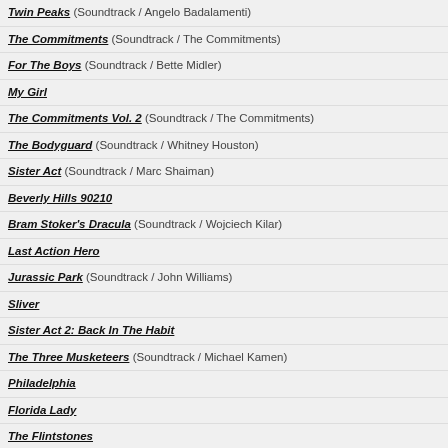Twin Peaks (Soundtrack / Angelo Badalamenti)
The Commitments (Soundtrack / The Commitments)
For The Boys (Soundtrack / Bette Midler)
My Girl
The Commitments Vol. 2 (Soundtrack / The Commitments)
The Bodyguard (Soundtrack / Whitney Houston)
Sister Act (Soundtrack / Marc Shaiman)
Beverly Hills 90210
Bram Stoker's Dracula (Soundtrack / Wojciech Kilar)
Last Action Hero
Jurassic Park (Soundtrack / John Williams)
Sliver
Sister Act 2: Back In The Habit
The Three Musketeers (Soundtrack / Michael Kamen)
Philadelphia
Florida Lady
The Flintstones
The Crow
Four Weddings And A Funeral
Forrest Gump
The Lion King
Pulp Fiction
David Copperfield - The Sound Of Magic
Der König der Löwen
Demon Knight
1492 - Conquest Of Paradise (Soundtrack / Vangelis)
Pret-a-Porter